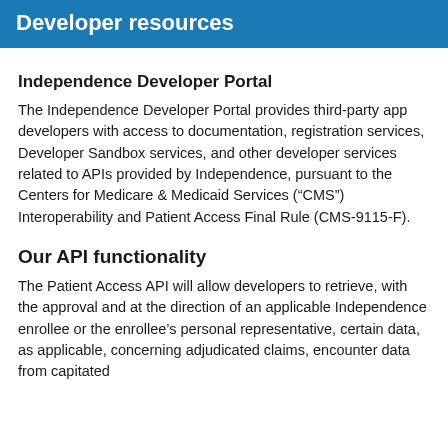Developer resources
Independence Developer Portal
The Independence Developer Portal provides third-party app developers with access to documentation, registration services, Developer Sandbox services, and other developer services related to APIs provided by Independence, pursuant to the Centers for Medicare & Medicaid Services (“CMS”) Interoperability and Patient Access Final Rule (CMS-9115-F).
Our API functionality
The Patient Access API will allow developers to retrieve, with the approval and at the direction of an applicable Independence enrollee or the enrollee’s personal representative, certain data, as applicable, concerning adjudicated claims, encounter data from capitated providers, and clinical information…